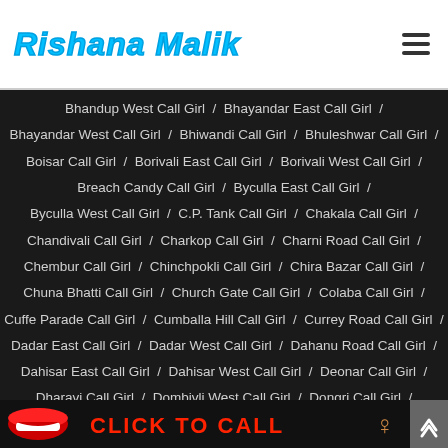Rishana Malik
Bhandup West Call Girl / Bhayandar East Call Girl / Bhayandar West Call Girl / Bhiwandi Call Girl / Bhuleshwar Call Girl / Boisar Call Girl / Borivali East Call Girl / Borivali West Call Girl / Breach Candy Call Girl / Byculla East Call Girl / Byculla West Call Girl / C.P. Tank Call Girl / Chakala Call Girl / Chandivali Call Girl / Charkop Call Girl / Charni Road Call Girl / Chembur Call Girl / Chinchpokli Call Girl / Chira Bazar Call Girl / Chuna Bhatti Call Girl / Church Gate Call Girl / Colaba Call Girl / Cuffe Parade Call Girl / Cumballa Hill Call Girl / Currey Road Call Girl / Dadar East Call Girl / Dadar West Call Girl / Dahanu Road Call Girl / Dahisar East Call Girl / Dahisar West Call Girl / Deonar Call Girl / Dharavi Call Girl / Dombivli West Call Girl / Dongri Call Girl / Elphinstone Road Call Girl / Fort Call Girl / Gamdevi Call Girl / Ghatkopar East Call Girl / Ghatkopar West Call Girl /
[Figure (infographic): Click to Call banner with red lips emoji and woman emoji]